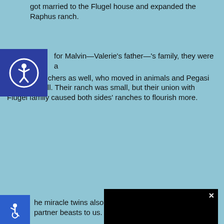got married to the Flugel house and expanded the Raphus ranch.
for Malvin—Valerie's father—'s family, they were a family of ranchers as well, who moved in animals and Pegasi ranch as well. Their ranch was small, but their union with Flugel family caused both sides' ranches to flourish more.
he miracle twins also narr partner beasts to us.
[Figure (screenshot): Black video player overlay with loading spinner circle and X close button]
We use cookies to ensure that we give you the best experience on our website. If you continue to use this site we will assume that you are happy with it.
Ok
his family's worries, the happier accidentally ente there to see what we app when he met Finn V...